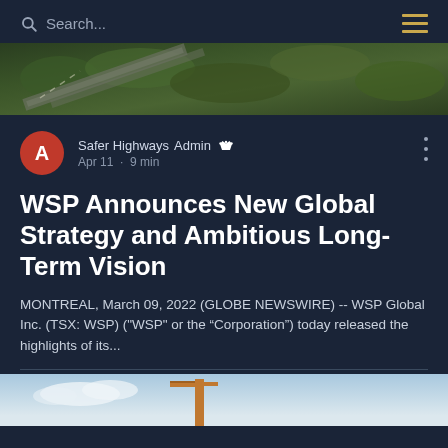Search...
[Figure (photo): Aerial view of highway with surrounding green tree canopy]
Safer Highways Admin
Apr 11 · 9 min
WSP Announces New Global Strategy and Ambitious Long-Term Vision
MONTREAL, March 09, 2022 (GLOBE NEWSWIRE) -- WSP Global Inc. (TSX: WSP) ("WSP" or the “Corporation”) today released the highlights of its...
[Figure (photo): Construction crane against a blue sky backdrop (partially visible at bottom)]